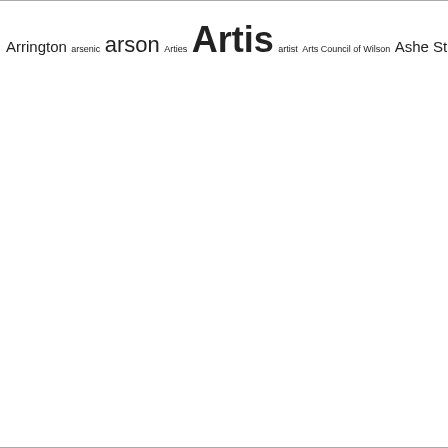[Figure (other): Tag cloud / index of terms starting with 'Ar' through 'Batts', with font sizes indicating frequency. Terms include: Arrington, arsenic, arson, Arties, Artis, artist, Arts Council of Wilson, Ashe Street, Asheville NC, Ash Street, ashtray, Askew, assault, assault and battery, assault with a deadly weapon, Atkins, Atkinson, Atlanta School of Social Work, Atlantic Christian College, Atlantic City NJ, Atlantic Coast Line, Atlantic Coast Line railroad, Atlantic Street, Atley, attempted murder, attorney, auction, Austin, auto mechanic, automobile, automobile accident, automobile culture, aviation, aviator goggles, award, awning and tent factory, Ayers, babysnatcher, back of the bus, baggage transfer, Bagley, Bailey, Bailly, Baines, Baker, bakery, balcony, ball, band, bank, bank failure, banking, Banks, Banks Street, Banner, baptism, baptismal font, Baptist church, Baptist minister, bar, barbecue, barber, barber shop, barbershop, Barbour, Barden, Barefoot, Barnes, Barnes Street, Barnett, Barron, Barton College, baseball, baseball stadium, basic training, basketball, Bass, bastardy action, batboy, bat boy, Batey, Battle, Battle, battle flag, Battle of Carrizal, Batts, Batts]